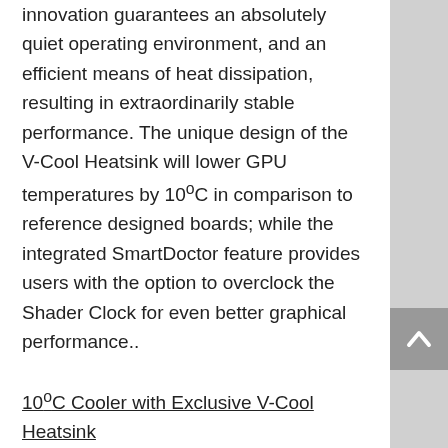innovation guarantees an absolutely quiet operating environment, and an efficient means of heat dissipation, resulting in extraordinarily stable performance. The unique design of the V-Cool Heatsink will lower GPU temperatures by 10°C in comparison to reference designed boards; while the integrated SmartDoctor feature provides users with the option to overclock the Shader Clock for even better graphical performance..
10°C Cooler with Exclusive V-Cool Heatsink
The V-Cool Heatsink's design stands as a testament to ASUS' commitment to both form and function. Sporting the unique V-Engine concept, the V-fins dissipate heat evenly with a